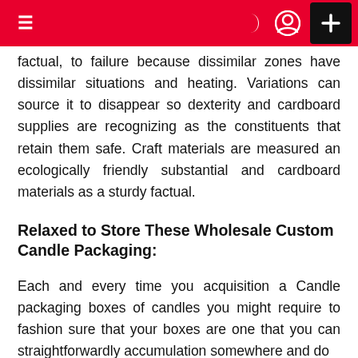≡  ) (user icon)  +
factual, to failure because dissimilar zones have dissimilar situations and heating. Variations can source it to disappear so dexterity and cardboard supplies are recognizing as the constituents that retain them safe. Craft materials are measured an ecologically friendly substantial and cardboard materials as a sturdy factual.
Relaxed to Store These Wholesale Custom Candle Packaging:
Each and every time you acquisition a Candle packaging boxes of candles you might require to fashion sure that your boxes are one that you can straightforwardly accumulation somewhere and do